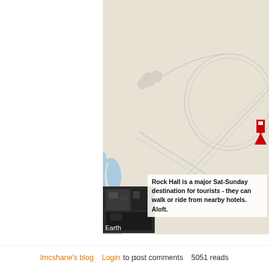[Figure (map): Google Maps style road/area map showing Rock Hall area with a river (labeled 'River') on the left side, road curves/loops, and a red location marker on the right. An 'Earth' satellite thumbnail is in the lower-left corner of the map.]
Rock Hall is a major Sat-Sunday destination for tourists - they can walk or ride from nearby hotels. Aloft.
lmcshane's blog   Login to post comments   5051 reads